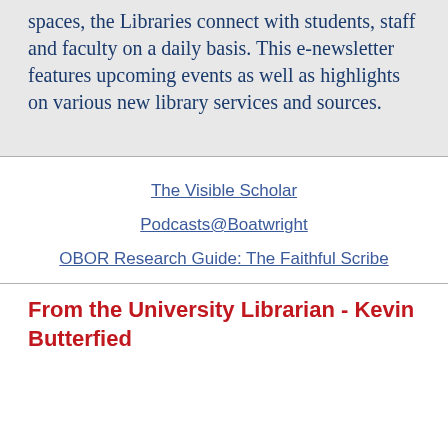spaces, the Libraries connect with students, staff and faculty on a daily basis. This e-newsletter features upcoming events as well as highlights on various new library services and sources.
The Visible Scholar
Podcasts@Boatwright
OBOR Research Guide: The Faithful Scribe
From the University Librarian - Kevin Butterfied